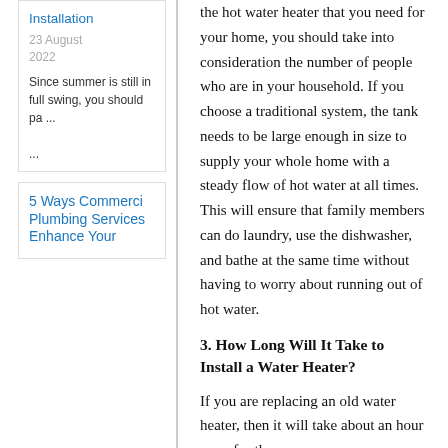Installation
23 August 2022
Since summer is still in full swing, you should pa ...
5 Ways Commercial Plumbing Services Enhance Your
the hot water heater that you need for your home, you should take into consideration the number of people who are in your household. If you choose a traditional system, the tank needs to be large enough in size to supply your whole home with a steady flow of hot water at all times. This will ensure that family members can do laundry, use the dishwasher, and bathe at the same time without having to worry about running out of hot water.
3. How Long Will It Take to Install a Water Heater?
If you are replacing an old water heater, then it will take about an hour or so for the